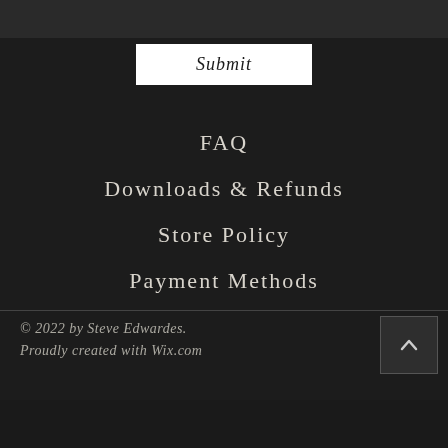Submit
FAQ
Downloads & Refunds
Store Policy
Payment Methods
© 2022 by Steve Edwardes. Proudly created with Wix.com